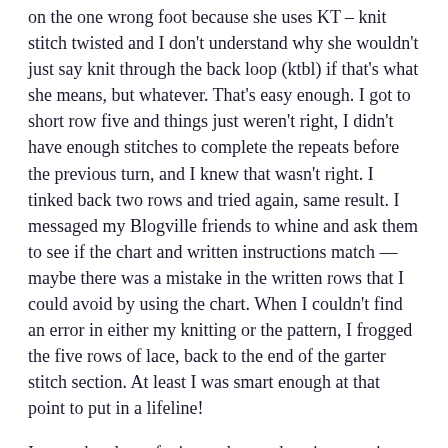on the one wrong foot because she uses KT – knit stitch twisted and I don't understand why she wouldn't just say knit through the back loop (ktbl) if that's what she means, but whatever. That's easy enough. I got to short row five and things just weren't right, I didn't have enough stitches to complete the repeats before the previous turn, and I knew that wasn't right. I tinked back two rows and tried again, same result. I messaged my Blogville friends to whine and ask them to see if the chart and written instructions match — maybe there was a mistake in the written rows that I could avoid by using the chart. When I couldn't find an error in either my knitting or the pattern, I frogged the five rows of lace, back to the end of the garter stitch section. At least I was smart enough at that point to put in a lifeline!
I poured a glass of wine and started again, counting carefully and using stitch markers to denote my turns, and again when I got to the end of short row five, it didn't match up. At that point, it was 9:15 at night so I put the shawl in time-out and finished my wine and went to bed.
This morning, I printed out the chart and the written instructions. I sat down with a cup of tea and compared them on row five. Yes, they matched but the chart was confusing item...